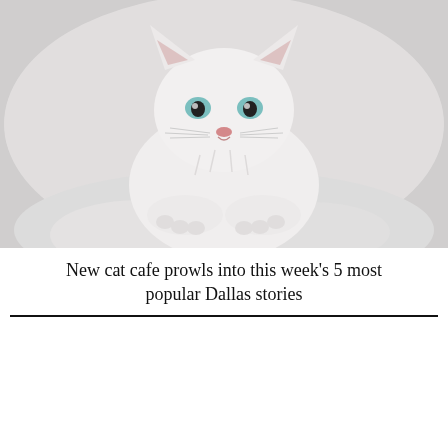[Figure (photo): A white fluffy kitten with blue eyes lying on a white fuzzy surface, looking at the camera]
New cat cafe prowls into this week's 5 most popular Dallas stories
LATEST NEWS   MOST POPULAR
Magnetic Dallas suburb tops this week's 5 most-read Dallas stories
The 10 best sports bars in Dallas for every...